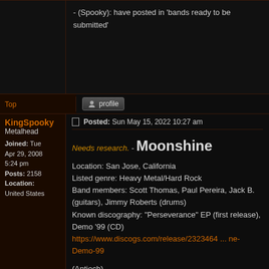- (Spooky): have posted in 'bands ready to be submitted'
Top
profile
KingSpooky
Metalhead
Joined: Tue Apr 29, 2008 5:24 pm
Posts: 2158
Location: United States
Posted: Sun May 15, 2022 10:27 am
Needs research. - Moonshine
Location: San Jose, California
Listed genre: Heavy Metal/Hard Rock
Band members: Scott Thomas, Paul Pereira, Jack B. (guitars), Jimmy Roberts (drums)
Known discography: "Perseverance" EP (first release), Demo '99 (CD)
https://www.discogs.com/release/2323464 ... ne-Demo-99

(Antioch) -
https://web.archive.org/web/20000409155 ... music.com/
Top
profile
Antioch
Metalhead
Posted: Sun May 15, 2022 5:06 pm